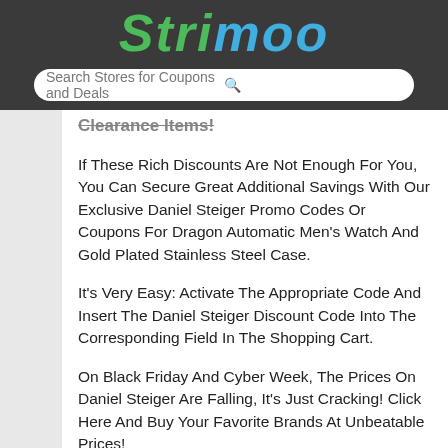Strimoo
Search Stores for Coupons and Deals
Clearance Items!
If These Rich Discounts Are Not Enough For You, You Can Secure Great Additional Savings With Our Exclusive Daniel Steiger Promo Codes Or Coupons For Dragon Automatic Men's Watch And Gold Plated Stainless Steel Case.
It's Very Easy: Activate The Appropriate Code And Insert The Daniel Steiger Discount Code Into The Corresponding Field In The Shopping Cart.
On Black Friday And Cyber Week, The Prices On Daniel Steiger Are Falling, It's Just Cracking! Click Here And Buy Your Favorite Brands At Unbeatable Prices!
You Can Find The Latest And Greatest Coupons